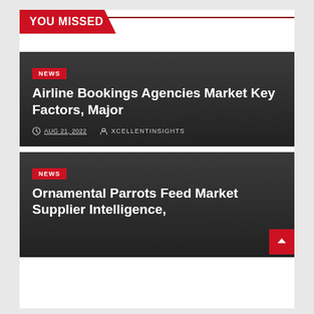YOU MISSED
[Figure (screenshot): Dark news card with red NEWS badge, headline 'Airline Bookings Agencies Market Key Factors, Major', date AUG 21, 2022, author XCELLENTINSIGHTS]
Airline Bookings Agencies Market Key Factors, Major
AUG 21, 2022   XCELLENTINSIGHTS
[Figure (screenshot): Dark news card with red NEWS badge, headline 'Ornamental Parrots Feed Market Supplier Intelligence,' (partial)]
Ornamental Parrots Feed Market Supplier Intelligence,